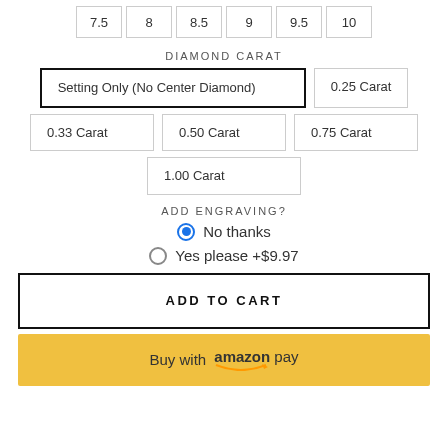7.5 | 8 | 8.5 | 9 | 9.5 | 10
DIAMOND CARAT
Setting Only (No Center Diamond)
0.25 Carat
0.33 Carat
0.50 Carat
0.75 Carat
1.00 Carat
ADD ENGRAVING?
No thanks (selected)
Yes please +$9.97
ADD TO CART
Buy with amazon pay